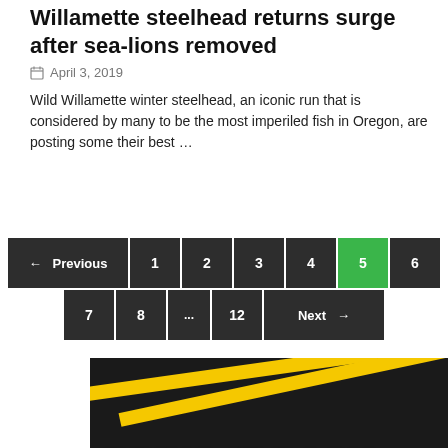Willamette steelhead returns surge after sea-lions removed
April 3, 2019
Wild Willamette winter steelhead, an iconic run that is considered by many to be the most imperiled fish in Oregon, are posting some their best ...
[Figure (other): Pagination bar with Previous, page numbers 1-8, ..., 12, Next buttons; page 5 is highlighted in green]
[Figure (photo): Advertisement image showing a person holding a fishing rod with yellow fishing line, overlaid with text 'BRING IT BACK' in large italic white letters, and 'WITH BUTTER STICK' below]